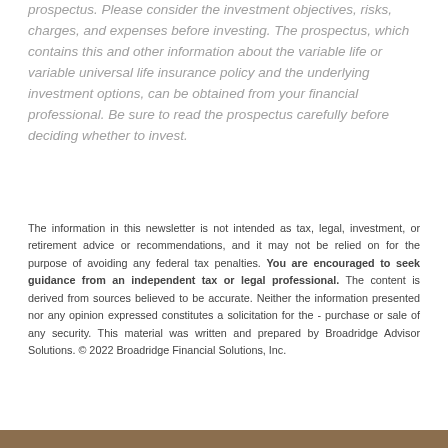prospectus. Please consider the investment objectives, risks, charges, and expenses before investing. The prospectus, which contains this and other information about the variable life or variable universal life insurance policy and the underlying investment options, can be obtained from your financial professional. Be sure to read the prospectus carefully before deciding whether to invest.
The information in this newsletter is not intended as tax, legal, investment, or retirement advice or recommendations, and it may not be relied on for the purpose of avoiding any federal tax penalties. You are encouraged to seek guidance from an independent tax or legal professional. The content is derived from sources believed to be accurate. Neither the information presented nor any opinion expressed constitutes a solicitation for the purchase or sale of any security. This material was written and prepared by Broadridge Advisor Solutions. © 2022 Broadridge Financial Solutions, Inc.